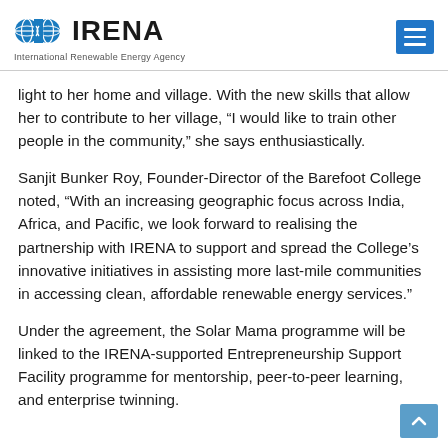IRENA – International Renewable Energy Agency
light to her home and village. With the new skills that allow her to contribute to her village, “I would like to train other people in the community,” she says enthusiastically.
Sanjit Bunker Roy, Founder-Director of the Barefoot College noted, “With an increasing geographic focus across India, Africa, and Pacific, we look forward to realising the partnership with IRENA to support and spread the College’s innovative initiatives in assisting more last-mile communities in accessing clean, affordable renewable energy services.”
Under the agreement, the Solar Mama programme will be linked to the IRENA-supported Entrepreneurship Support Facility programme for mentorship, peer-to-peer learning, and enterprise twinning.